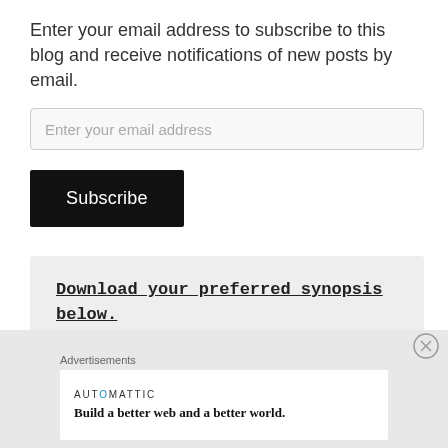Enter your email address to subscribe to this blog and receive notifications of new posts by email.
Enter your email address
Subscribe
Download your preferred synopsis below.
Advertisements
[Figure (logo): Automattic logo with tagline: Build a better web and a better world.]